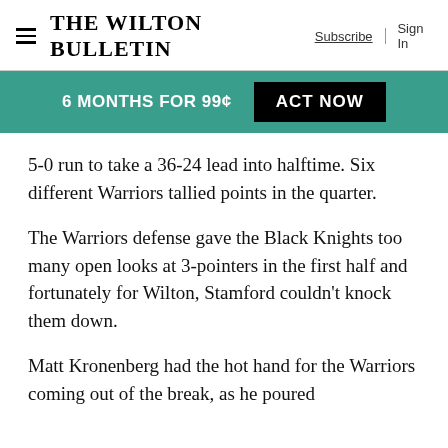The Wilton Bulletin  Subscribe  Sign In
[Figure (infographic): Teal promotional banner with text '6 MONTHS FOR 99¢' and a black 'ACT NOW' button]
5-0 run to take a 36-24 lead into halftime. Six different Warriors tallied points in the quarter.
The Warriors defense gave the Black Knights too many open looks at 3-pointers in the first half and fortunately for Wilton, Stamford couldn't knock them down.
Matt Kronenberg had the hot hand for the Warriors coming out of the break, as he poured